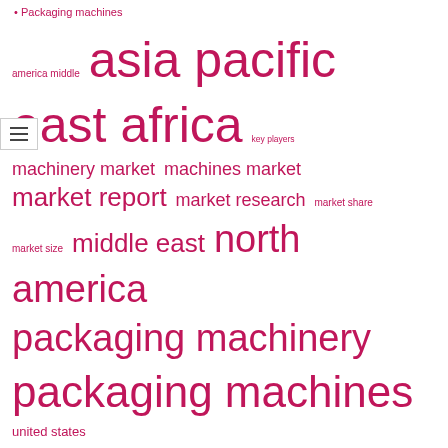Packaging machines
[Figure (infographic): Tag cloud with marketing/packaging terms in various sizes, all in pink/crimson color. Terms include: america middle, asia pacific east africa, key players, machinery market, machines market, market report, market research, market share, market size, middle east, north america, packaging machinery, packaging machines, united states]
RECENT POSTS
Top of the market in automatic packaging machines for heat shrinkable film
Blister Packaging Machines for Pharmaceutical Market 2022: Impact
Top Companies, Trends, Growth Factors and Forecast to 2026
Global Pouch Packaging Machines Market Size, Share, Trends CAGR b...